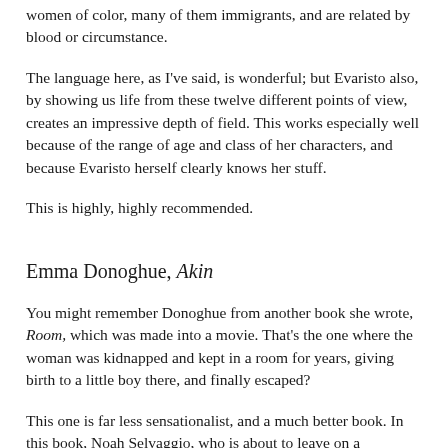women of color, many of them immigrants, and are related by blood or circumstance.
The language here, as I've said, is wonderful; but Evaristo also, by showing us life from these twelve different points of view, creates an impressive depth of field. This works especially well because of the range of age and class of her characters, and because Evaristo herself clearly knows her stuff.
This is highly, highly recommended.
Emma Donoghue, Akin
You might remember Donoghue from another book she wrote, Room, which was made into a movie. That's the one where the woman was kidnapped and kept in a room for years, giving birth to a little boy there, and finally escaped?
This one is far less sensationalist, and a much better book. In this book, Noah Selvaggio, who is about to leave on a